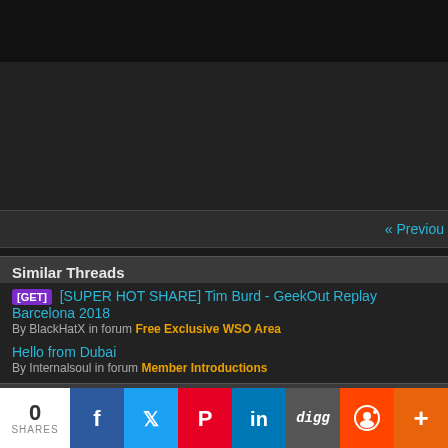[Figure (screenshot): Dark top navigation bar area of a forum website]
« Previous
Similar Threads
[GET] [SUPER HOT SHARE] Tim Burd - GeekOut Replay Barcelona 2018
By BlackHatX in forum Free Exclusive WSO Area
Hello from Dubai
By Internalsoul in forum Member Introductions
[INSTANT GROUP BUY] Tim Burd - GeekOut Replay Barcelona 2018
By BlackHatX in forum Exclusive Public GB & JV Section
Bookmarks
Digg
del.icio.us
0 SHARES